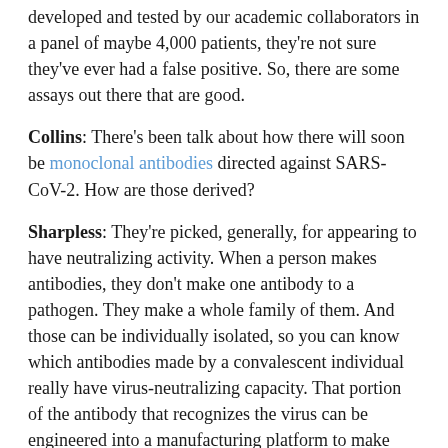developed and tested by our academic collaborators in a panel of maybe 4,000 patients, they're not sure they've ever had a false positive. So, there are some assays out there that are good.
Collins: There's been talk about how there will soon be monoclonal antibodies directed against SARS-CoV-2. How are those derived?
Sharpless: They're picked, generally, for appearing to have neutralizing activity. When a person makes antibodies, they don't make one antibody to a pathogen. They make a whole family of them. And those can be individually isolated, so you can know which antibodies made by a convalescent individual really have virus-neutralizing capacity. That portion of the antibody that recognizes the virus can be engineered into a manufacturing platform to make monoclonal antibodies. Monoclonal means one kind of antibody. That approach has worked for other infectious diseases and is an interesting idea here too.
Collins: I can say a bit about that, because we are engaged in a partnership with industry and FDA called Accelerating COVID-19 Therapeutic Interventions and